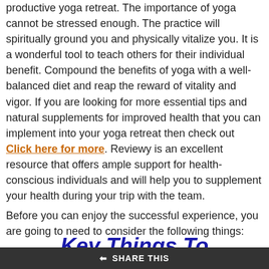productive yoga retreat. The importance of yoga cannot be stressed enough. The practice will spiritually ground you and physically vitalize you. It is a wonderful tool to teach others for their individual benefit. Compound the benefits of yoga with a well-balanced diet and reap the reward of vitality and vigor. If you are looking for more essential tips and natural supplements for improved health that you can implement into your yoga retreat then check out Click here for more. Reviewy is an excellent resource that offers ample support for health-conscious individuals and will help you to supplement your health during your trip with the team.
Before you can enjoy the successful experience, you are going to need to consider the following things:
Key Things To Think About When Planning A Successful Yoga
SHARE THIS